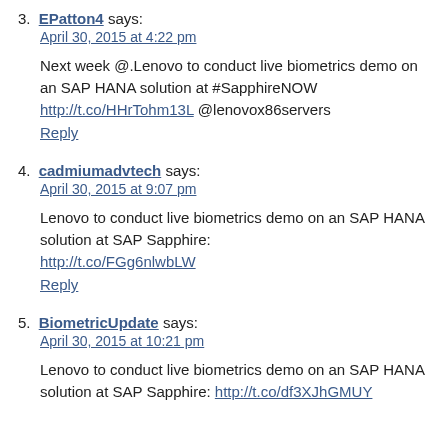3. EPatton4 says:
April 30, 2015 at 4:22 pm

Next week @.Lenovo to conduct live biometrics demo on an SAP HANA solution at #SapphireNOW http://t.co/HHrTohm13L @lenovox86servers
Reply
4. cadmiumadvtech says:
April 30, 2015 at 9:07 pm

Lenovo to conduct live biometrics demo on an SAP HANA solution at SAP Sapphire:
http://t.co/FGg6nlwbLW
Reply
5. BiometricUpdate says:
April 30, 2015 at 10:21 pm

Lenovo to conduct live biometrics demo on an SAP HANA solution at SAP Sapphire: http://t.co/df3XJhGMUY